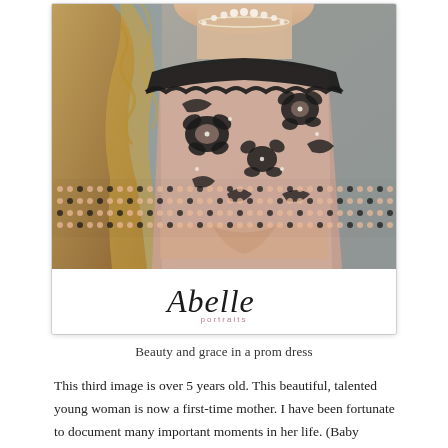[Figure (photo): A young woman wearing a black lace strapless prom dress with floral appliqués over a nude/blush base, with a pearl necklace and long curly blonde hair. The image has the Abelle Portraits studio logo overlaid at the bottom of the photo card.]
Beauty and grace in a prom dress
This third image is over 5 years old. This beautiful, talented young woman is now a first-time mother. I have been fortunate to document many important moments in her life. (Baby portraits coming later on).